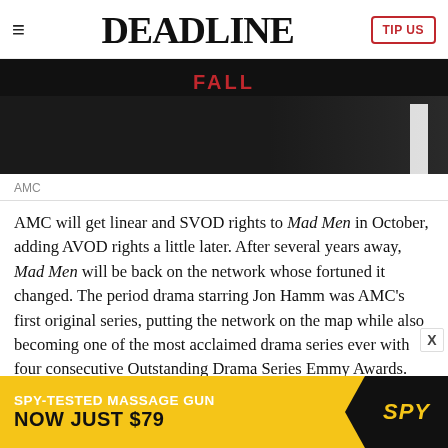DEADLINE
[Figure (photo): Black and white photo with red text 'FALL' visible, appears to be a Mad Men promotional image]
AMC
AMC will get linear and SVOD rights to Mad Men in October, adding AVOD rights a little later. After several years away, Mad Men will be back on the network whose fortuned it changed. The period drama starring Jon Hamm was AMC’s first original series, putting the network on the map while also becoming one of the most acclaimed drama series ever with four consecutive Outstanding Drama Series Emmy Awards.
“Mad Men launched on AMC in 2007 and became the definition
[Figure (infographic): Advertisement banner: SPY-TESTED MASSAGE GUN NOW JUST $79, SPY logo]